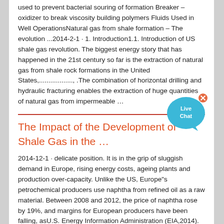used to prevent bacterial souring of formation Breaker – oxidizer to break viscosity building polymers Fluids Used in Well OperationsNatural gas from shale formation – The evolution ...2014-2-1 · 1. Introduction1.1. Introduction of US shale gas revolution. The biggest energy story that has happened in the 21st century so far is the extraction of natural gas from shale rock formations in the United States,.................., .The combination of horizontal drilling and hydraulic fracturing enables the extraction of huge quantities of natural gas from impermeable …
[Figure (other): Live Chat bubble icon in blue with an X close button]
The Impact of the Development of Shale Gas in the …
2014-12-1 · delicate position. It is in the grip of sluggish demand in Europe, rising energy costs, ageing plants and production over-capacity. Unlike the US, Europe"s petrochemical producers use naphtha from refined oil as a raw material. Between 2008 and 2012, the price of naphtha rose by 19%, and margins for European producers have been falling, asU.S. Energy Information Administration (EIA,2014). Brazil, S. Energy from the